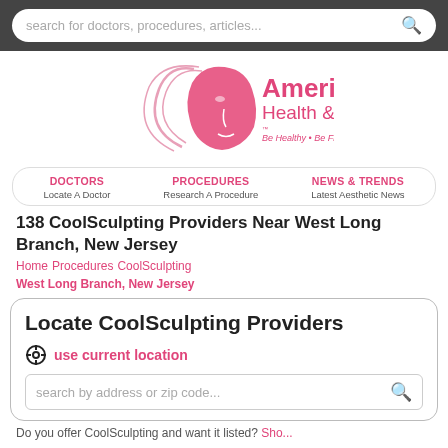search for doctors, procedures, articles...
[Figure (logo): American Health & Beauty logo with pink face silhouette. Tagline: Be Healthy • Be Fit • Be Beautiful]
DOCTORS  Locate A Doctor   PROCEDURES  Research A Procedure   NEWS & TRENDS  Latest Aesthetic News
138 CoolSculpting Providers Near West Long Branch, New Jersey
Home   Procedures   CoolSculpting
West Long Branch, New Jersey
Locate CoolSculpting Providers
use current location
search by address or zip code...
Do you offer CoolSculpting and want it listed?